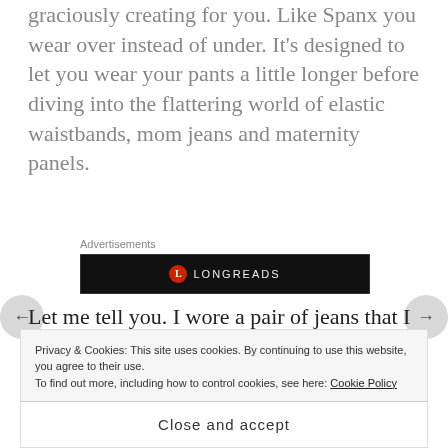graciously creating for you. Like Spanx you wear over instead of under. It's designed to let you wear your pants a little longer before diving into the flattering world of elastic waistbands, mom jeans and maternity panels.
[Figure (other): Longreads advertisement banner — black background with red circular logo and 'LONGREADS' text in white uppercase letters]
Let me tell you. I wore a pair of jeans that I haven't been able to wear in about a year on Christmas Eve. That was great enough, but then after feasting for an
Privacy & Cookies: This site uses cookies. By continuing to use this website, you agree to their use. To find out more, including how to control cookies, see here: Cookie Policy
Close and accept
one a long time ago. We all have those days where